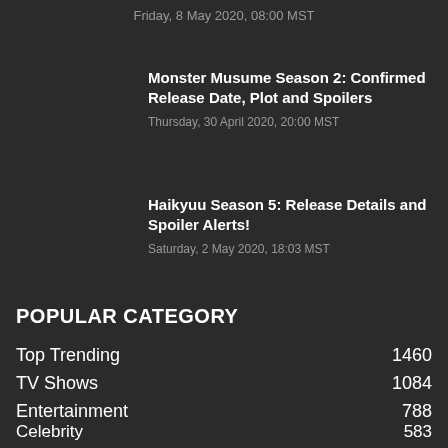Friday, 8 May 2020, 08:00 MST
Monster Musume Season 2: Confirmed Release Date, Plot and Spoilers
Thursday, 30 April 2020, 20:00 MST
Haikyuu Season 5: Release Details and Spoiler Alerts!
Saturday, 2 May 2020, 18:03 MST
POPULAR CATEGORY
Top Trending 1460
TV Shows 1084
Entertainment 788
Celebrity 583
Movies 362